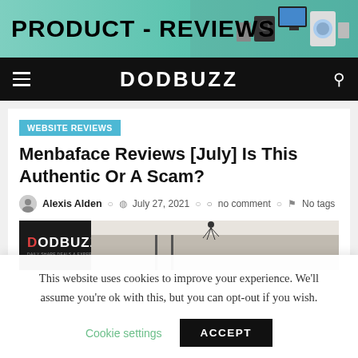[Figure (banner): Product Reviews banner with teal/green background and appliance images on the right]
DODBUZZ
WEBSITE REVIEWS
Menbaface Reviews [July] Is This Authentic Or A Scam?
Alexis Alden  July 27, 2021  no comment  No tags
[Figure (screenshot): Article header image with dark background showing DODBUZZ logo with red accent bar]
This website uses cookies to improve your experience. We'll assume you're ok with this, but you can opt-out if you wish.
Cookie settings
ACCEPT